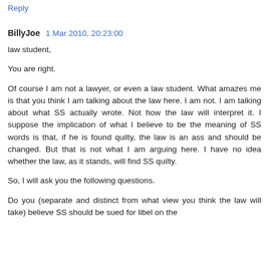Reply
BillyJoe  1 Mar 2010, 20:23:00
law student,
You are right.
Of course I am not a lawyer, or even a law student. What amazes me is that you think I am talking about the law here. I am not. I am talking about what SS actually wrote. Not how the law will interpret it. I suppose the implication of what I believe to be the meaning of SS words is that, if he is found quilty, the law is an ass and should be changed. But that is not what I am arguing here. I have no idea whether the law, as it stands, will find SS quilty.
So, I will ask you the following questions.
Do you (separate and distinct from what view you think the law will take) believe SS should be sued for libel on the